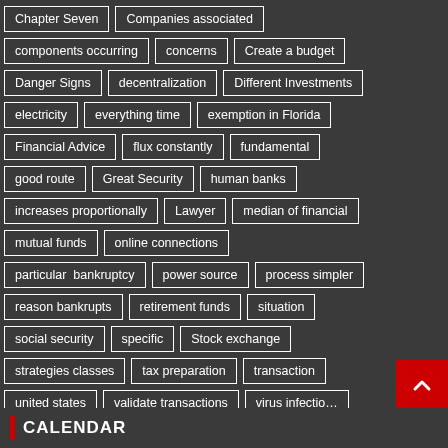Chapter Seven
Companies associated
components occurring
concerns
Create a budget
Danger Signs
decentralization
Different Investments
electricity
everything time
exemption in Florida
Financial Advice
flux constantly
fundamental
good route
Great Security
human banks
increases proportionally
Lawyer
median of financial
mutual funds
online connections
particular  bankruptcy
power source
process simpler
reason bankrupts
retirement funds
situation
social security
specific
Stock exchange
strategies classes
tax preparation
transaction
united states
validate transactions
virus infection
CALENDAR